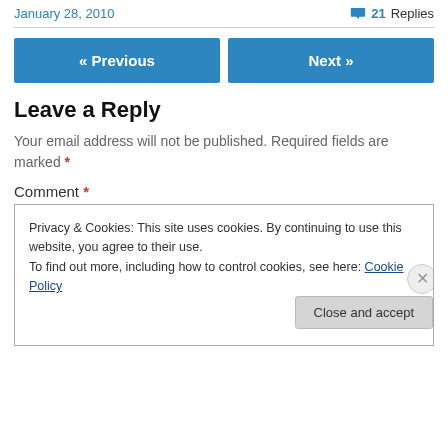January 28, 2010   💬 21 Replies
Leave a Reply
Your email address will not be published. Required fields are marked *
Comment *
Privacy & Cookies: This site uses cookies. By continuing to use this website, you agree to their use.
To find out more, including how to control cookies, see here: Cookie Policy
Close and accept